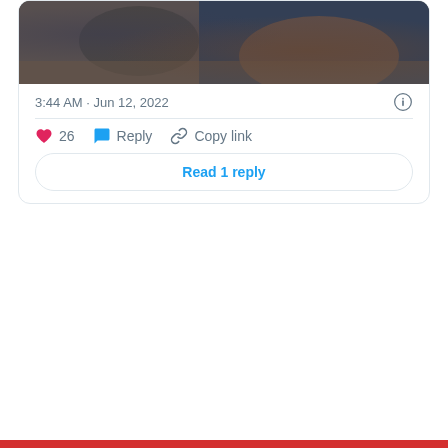[Figure (photo): Partial view of a social media tweet with a photo showing dark-toned figures, cropped at the top]
3:44 AM · Jun 12, 2022
26  Reply  Copy link
Read 1 reply